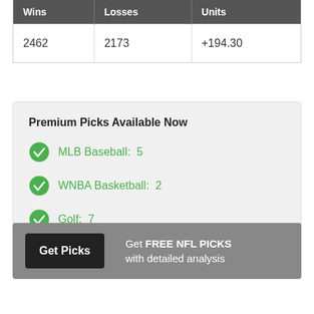| Wins | Losses | Units |
| --- | --- | --- |
| 2462 | 2173 | +194.30 |
Premium Picks Available Now
MLB Baseball: 5
WNBA Basketball: 2
Golf: 7
Get Picks — Get FREE NFL PICKS with detailed analysis